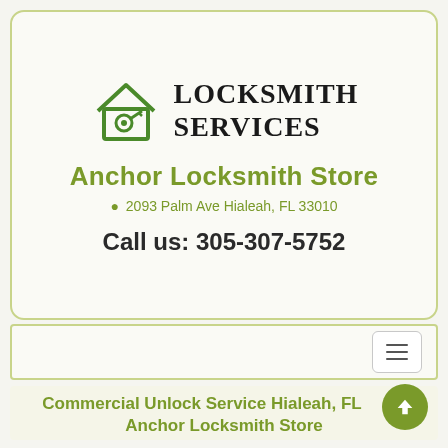[Figure (logo): Locksmith Services logo: green house outline with a key inside, next to bold serif text reading LOCKSMITH SERVICES]
Anchor Locksmith Store
2093 Palm Ave Hialeah, FL 33010
Call us: 305-307-5752
[Figure (other): Navigation bar with hamburger menu button on the right]
Commercial Unlock Service Hialeah, FL
Anchor Locksmith Store